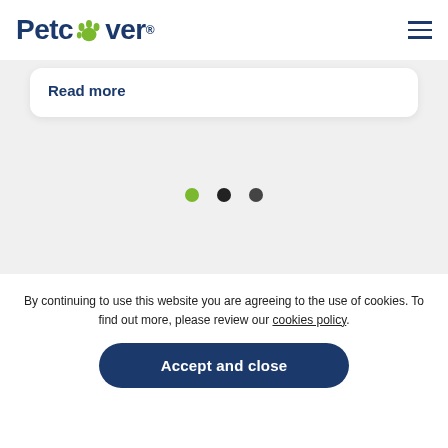Petcover
Read more
[Figure (other): Carousel navigation dots: green dot (active), dark dot, dark dot]
By continuing to use this website you are agreeing to the use of cookies. To find out more, please review our cookies policy.
Accept and close